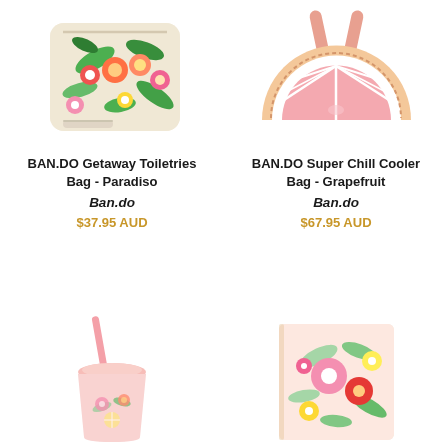[Figure (photo): BAN.DO Getaway Toiletries Bag in Paradiso floral pattern – a square cosmetics bag with colorful tropical flowers on cream background with wrist strap]
BAN.DO Getaway Toiletries Bag - Paradiso
Ban.do
$37.95 AUD
[Figure (photo): BAN.DO Super Chill Cooler Bag in Grapefruit shape – a semicircle shaped tote bag resembling a grapefruit slice with pink segments and peach handles]
BAN.DO Super Chill Cooler Bag - Grapefruit
Ban.do
$67.95 AUD
[Figure (photo): A pink smoothie cup with straw featuring tropical floral pattern]
[Figure (photo): A floral patterned notebook or passport holder with bright pink, red, yellow flowers on cream background]